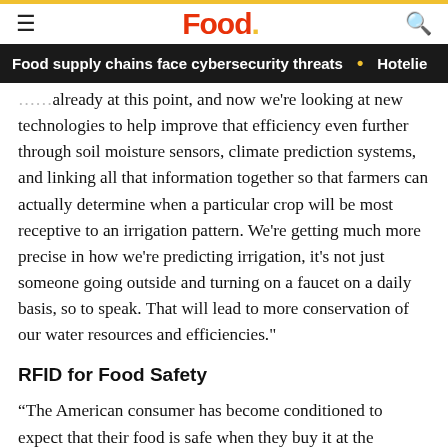Food.
Food supply chains face cybersecurity threats • Hotelie
already at this point, and now we're looking at new technologies to help improve that efficiency even further through soil moisture sensors, climate prediction systems, and linking all that information together so that farmers can actually determine when a particular crop will be most receptive to an irrigation pattern. We're getting much more precise in how we're predicting irrigation, it's not just someone going outside and turning on a faucet on a daily basis, so to speak. That will lead to more conservation of our water resources and efficiencies."
RFID for Food Safety
“The American consumer has become conditioned to expect that their food is safe when they buy it at the